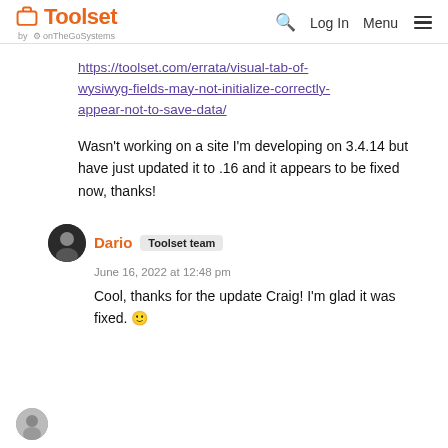Toolset by onTheGoSystems | Log In | Menu
https://toolset.com/errata/visual-tab-of-wysiwyg-fields-may-not-initialize-correctly-appear-not-to-save-data/
Wasn't working on a site I'm developing on 3.4.14 but have just updated it to .16 and it appears to be fixed now, thanks!
Dario  Toolset team
June 16, 2022 at 12:48 pm
Cool, thanks for the update Craig! I'm glad it was fixed. 🙂